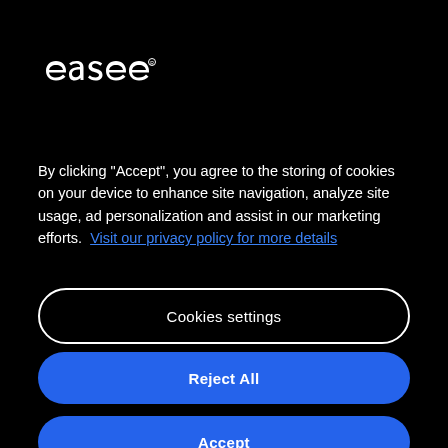[Figure (logo): easee logo in white on black background]
By clicking “Accept”, you agree to the storing of cookies on your device to enhance site navigation, analyze site usage, ad personalization and assist in our marketing efforts. Visit our privacy policy for more details
Cookies settings
Reject All
Accept